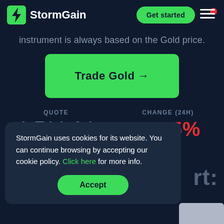StormGain
instrument is always based on the Gold price.
Trade Gold →
QUOTE 1,711.04
CHANGE (24H) -0.05%
StormGain uses cookies for its website. You can continue browsing by accepting our cookie policy. Click here for more info.
Accept